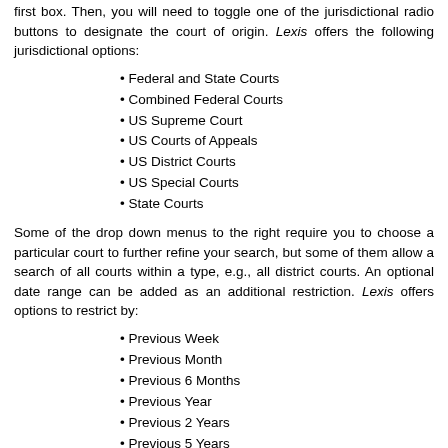first box. Then, you will need to toggle one of the jurisdictional radio buttons to designate the court of origin. Lexis offers the following jurisdictional options:
Federal and State Courts
Combined Federal Courts
US Supreme Court
US Courts of Appeals
US District Courts
US Special Courts
State Courts
Some of the drop down menus to the right require you to choose a particular court to further refine your search, but some of them allow a search of all courts within a type, e.g., all district courts. An optional date range can be added as an additional restriction. Lexis offers options to restrict by:
Previous Week
Previous Month
Previous 6 Months
Previous Year
Previous 2 Years
Previous 5 Years
Previous 10 Years
Date Range
We will use the example of the landmark case of Roe v. Wade decided by the United States Supreme Court in 1973. Typing in only the names of the parties and